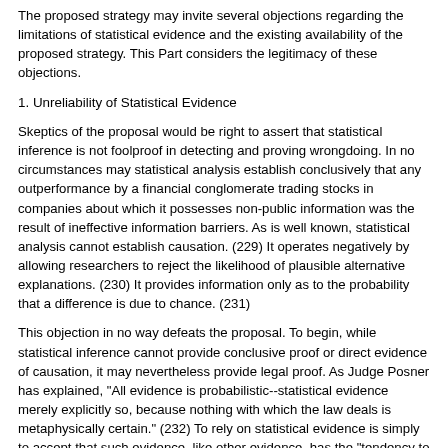The proposed strategy may invite several objections regarding the limitations of statistical evidence and the existing availability of the proposed strategy. This Part considers the legitimacy of these objections.
1. Unreliability of Statistical Evidence
Skeptics of the proposal would be right to assert that statistical inference is not foolproof in detecting and proving wrongdoing. In no circumstances may statistical analysis establish conclusively that any outperformance by a financial conglomerate trading stocks in companies about which it possesses non-public information was the result of ineffective information barriers. As is well known, statistical analysis cannot establish causation. (229) It operates negatively by allowing researchers to reject the likelihood of plausible alternative explanations. (230) It provides information only as to the probability that a difference is due to chance. (231)
This objection in no way defeats the proposal. To begin, while statistical inference cannot provide conclusive proof or direct evidence of causation, it may nevertheless provide legal proof. As Judge Posner has explained, "All evidence is probabilistic--statistical evidence merely explicitly so, because nothing with which the law deals is metaphysically certain." (232) To rely on statistical evidence is simply to accept that such evidence, like other evidence, has the "tendency to make the existence of any fact that is of consequence to the determination of the action more probable or less probable than it would be without the evidence." (233) Moreover, the approach employed in statistical analysis--of arriving at a conclusion by ruling out plausible alternative explanations--is consistent with judicial fact-finding. (234)
Second, in a range of contexts where direct evidence of wrongdoing is